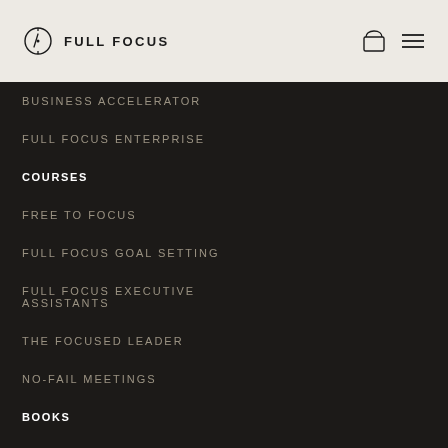FULL FOCUS
BUSINESS ACCELERATOR
FULL FOCUS ENTERPRISE
COURSES
FREE TO FOCUS
FULL FOCUS GOAL SETTING
FULL FOCUS EXECUTIVE ASSISTANTS
THE FOCUSED LEADER
NO-FAIL MEETINGS
BOOKS
YOUR WORLD-CLASS